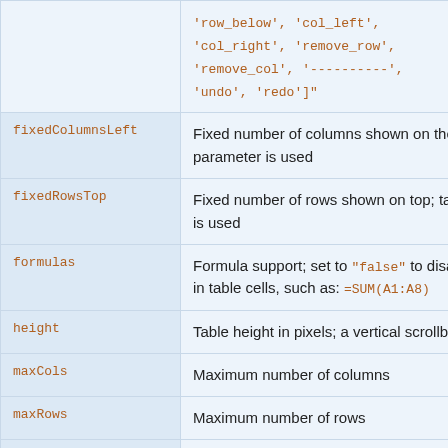| Parameter | Description | Default |
| --- | --- | --- |
|  | 'row_below', 'col_left',
'col_right', 'remove_row',
'remove_col', '----------',
'undo', 'redo']" |  |
| fixedColumnsLeft | Fixed number of columns shown on the left; takes effect if width parameter is used | fixedC... |
| fixedRowsTop | Fixed number of rows shown on top; takes effect if height parameter is used | fixedR... |
| formulas | Formula support; set to "false" to disable spreadsheet calculations in table cells, such as: =SUM(A1:A8) | formu... |
| height | Table height in pixels; a vertical scrollbar is added if needed | height... |
| maxCols | Maximum number of columns | maxCo... |
| maxRows | Maximum number of rows | maxRo... |
| minSpareCols | When set to 1 (or more), | minSp... |